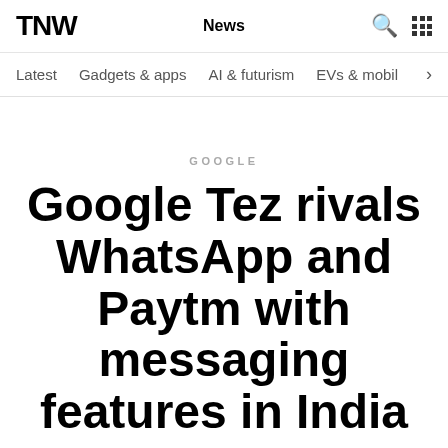TNW  News
Latest  Gadgets & apps  AI & futurism  EVs & mobil
GOOGLE
Google Tez rivals WhatsApp and Paytm with messaging features in India